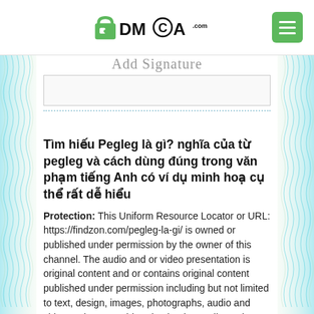DMCA.com logo and menu button
Add Signature
Tìm hiếu Pegleg là gì? nghĩa của từ pegleg và cách dùng đúng trong văn phạm tiếng Anh có ví dụ minh hoạ cụ thể rất dễ hiểu
Protection: This Uniform Resource Locator or URL: https://findzon.com/pegleg-la-gi/ is owned or published under permission by the owner of this channel. The audio and or video presentation is original content and or contains original content published under permission including but not limited to text, design, images, photographs, audio and video and are considered to be the Intellectual